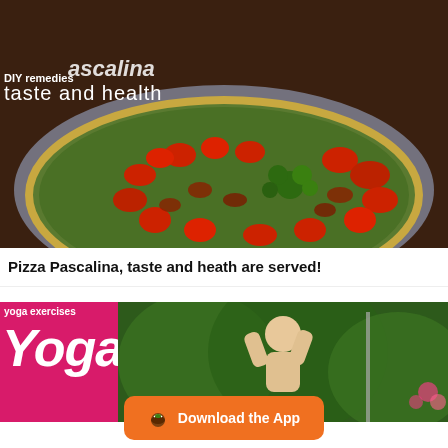[Figure (photo): Pizza Pascalina with green pesto base, cherry tomatoes, sun-dried tomatoes and broccoli florets in a baking dish. Overlay text reads 'DIY remedies', 'pascalina', 'taste and health'.]
Pizza Pascalina, taste and heath are served!
[Figure (photo): Yoga-themed banner with hot pink left panel showing 'yoga exercises' and 'Yoga' text, and right panel showing a woman doing yoga outdoors.]
Download the App